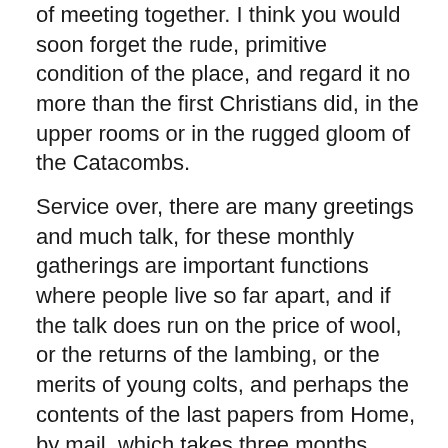of meeting together. I think you would soon forget the rude, primitive condition of the place, and regard it no more than the first Christians did, in the upper rooms or in the rugged gloom of the Catacombs.
Service over, there are many greetings and much talk, for these monthly gatherings are important functions where people live so far apart, and if the talk does run on the price of wool, or the returns of the lambing, or the merits of young colts, and perhaps the contents of the last papers from Home, by mail, which takes three months, what would you have, even if it is Sunday, in a country where your nearest neighbour is twenty miles distant? Then comes dinner, provided in part by the owner of the station, and in